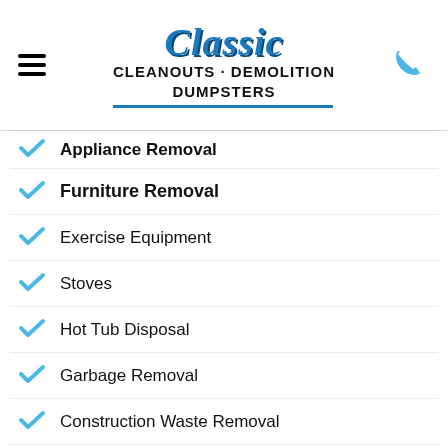[Figure (logo): Classic Cleanouts Demolition Dumpsters logo with blue script 'Classic' text above bold black 'CLEANOUTS · DEMOLITION DUMPSTERS' text and blue underline]
Appliance Removal
Furniture Removal
Exercise Equipment
Stoves
Hot Tub Disposal
Garbage Removal
Construction Waste Removal